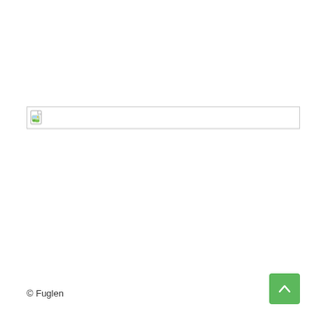[Figure (other): A broken/missing image placeholder showing a small image icon with a border, rendered as a thin horizontal box with a small landscape thumbnail icon on the left side.]
© Fuglen